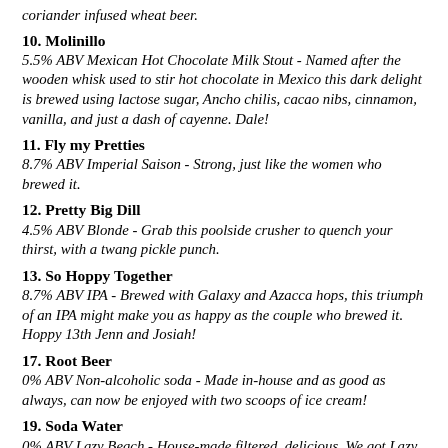coriander infused wheat beer.
10. Molinillo
5.5% ABV Mexican Hot Chocolate Milk Stout - Named after the wooden whisk used to stir hot chocolate in Mexico this dark delight is brewed using lactose sugar, Ancho chilis, cacao nibs, cinnamon, vanilla, and just a dash of cayenne. Dale!
11. Fly my Pretties
8.7% ABV Imperial Saison - Strong, just like the women who brewed it.
12. Pretty Big Dill
4.5% ABV Blonde - Grab this poolside crusher to quench your thirst, with a twang pickle punch.
13. So Hoppy Together
8.7% ABV IPA - Brewed with Galaxy and Azacca hops, this triumph of an IPA might make you as happy as the couple who brewed it. Hoppy 13th Jenn and Josiah!
17. Root Beer
0% ABV Non-alcoholic soda - Made in-house and as good as always, can now be enjoyed with two scoops of ice cream!
19. Soda Water
0% ABV Lazy Beach - House-made filtered, delicious. We got Lazy .